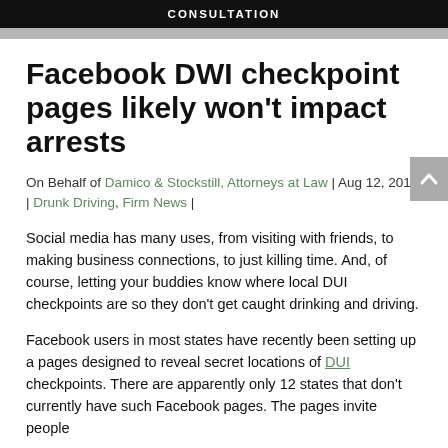CONSULTATION
Facebook DWI checkpoint pages likely won't impact arrests
On Behalf of Damico & Stockstill, Attorneys at Law | Aug 12, 2011 | Drunk Driving, Firm News |
Social media has many uses, from visiting with friends, to making business connections, to just killing time. And, of course, letting your buddies know where local DUI checkpoints are so they don't get caught drinking and driving.
Facebook users in most states have recently been setting up a pages designed to reveal secret locations of DUI checkpoints. There are apparently only 12 states that don't currently have such Facebook pages. The pages invite people